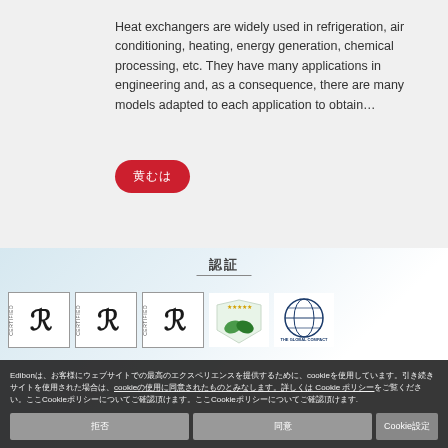Heat exchangers are widely used in refrigeration, air conditioning, heating, energy generation, chemical processing, etc. They have many applications in engineering and, as a consequence, there are many models adapted to each application to obtain…
[Figure (other): Red rounded button with Japanese/Chinese characters (read more button)]
[Figure (other): Carousel dot navigation row with 12 dots, first dot active (filled dark), rest grey. Red circular info button on the right.]
[Figure (other): Section with light blue gradient background, CJK title text, horizontal rule underline, and a row of certification logos: three Lloyd's Register (LR) certified marks, an eco/environment badge, and The Global Compact globe logo.]
Edibonは、お客様にウェブサイトでの最高のエクスペリエンスを提供するためにcookieを使用しています。引き続きサイトを使用された場合は、cookieの使用に同意されたものとみなします。詳しくは Cookie ポリシーをご覧ください。ここをご確認いただくことでCookieポリシーについてご確認頂けます。
拒否
同意
Cookie設定